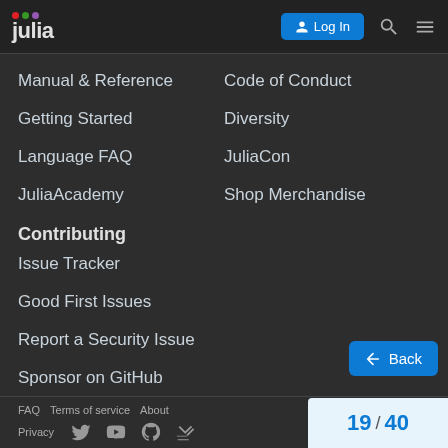Julia logo | Log In | Search | Menu
Manual & Reference
Code of Conduct
Getting Started
Diversity
Language FAQ
JuliaCon
JuliaAcademy
Shop Merchandise
Contributing
Issue Tracker
Good First Issues
Report a Security Issue
Sponsor on GitHub
FAQ  Terms of service  About  Privacy  19 / 40